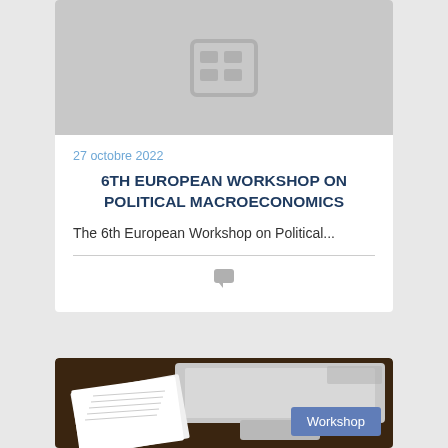[Figure (other): Gray placeholder card image with a table/spreadsheet icon in white]
27 octobre 2022
6TH EUROPEAN WORKSHOP ON POLITICAL MACROECONOMICS
The 6th European Workshop on Political...
[Figure (photo): Photo of an open planner/diary book on a dark wood desk with a laptop in the background, with a blue 'Workshop' badge overlay]